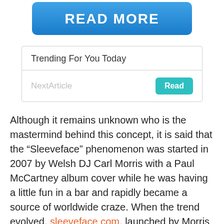[Figure (other): Blue 'READ MORE' button with rounded corners and gradient background]
| Trending For You Today |  |
| --- | --- |
| NextArticle | Read |
Although it remains unknown who is the mastermind behind this concept, it is said that the “Sleeveface” phenomenon was started in 2007 by Welsh DJ Carl Morris with a Paul McCartney album cover while he was having a little fun in a bar and rapidly became a source of worldwide craze. When the trend evolved, sleeveface.com, launched by Morris and his friend John Rostron, became a home for a quirky community of enthusiasts precisely covering their faces and other body parts which resulted in an artistic, vivid and hilarious compilation of eye tricks. And sometimes, they